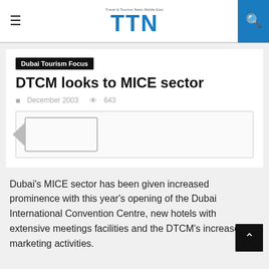TTN — Travel & Tourism News Middle East
Dubai Tourism Focus
DTCM looks to MICE sector
December 2003   643
[Figure (photo): Image placeholder with broken image icon — a rectangle with a left-pointing arrow shape, bordered box]
Dubai's MICE sector has been given increased prominence with this year's opening of the Dubai International Convention Centre, new hotels with extensive meetings facilities and the DTCM's increased marketing activities.